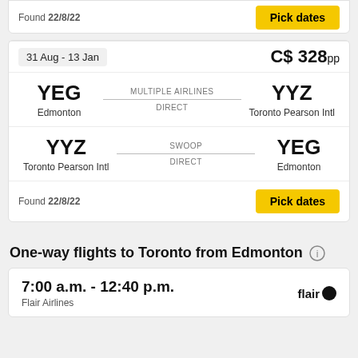Found 22/8/22
Pick dates
31 Aug - 13 Jan
C$ 328pp
YEG Edmonton — MULTIPLE AIRLINES — DIRECT — YYZ Toronto Pearson Intl
YYZ Toronto Pearson Intl — SWOOP — DIRECT — YEG Edmonton
Found 22/8/22
Pick dates
One-way flights to Toronto from Edmonton
7:00 a.m. - 12:40 p.m.
Flair Airlines
flair